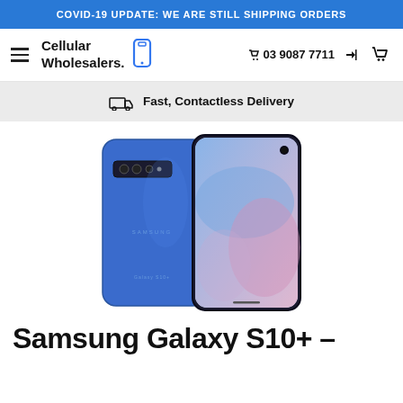COVID-19 UPDATE: WE ARE STILL SHIPPING ORDERS
[Figure (logo): Cellular Wholesalers logo with phone icon, hamburger menu, phone number 03 9087 7711, login and cart icons]
Fast, Contactless Delivery
[Figure (photo): Samsung Galaxy S10+ smartphone shown from front and back in Prism Blue color]
Samsung Galaxy S10+ –